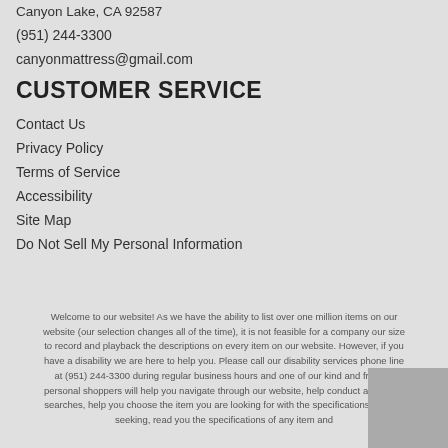Canyon Lake, CA 92587
(951) 244-3300
canyonmattress@gmail.com
CUSTOMER SERVICE
Contact Us
Privacy Policy
Terms of Service
Accessibility
Site Map
Do Not Sell My Personal Information
Welcome to our website! As we have the ability to list over one million items on our website (our selection changes all of the time), it is not feasible for a company our size to record and playback the descriptions on every item on our website. However, if you have a disability we are here to help you. Please call our disability services phone line at (951) 244-3300 during regular business hours and one of our kind and friendly personal shoppers will help you navigate through our website, help conduct advanced searches, help you choose the item you are looking for with the specifications you are seeking, read you the specifications of any item and